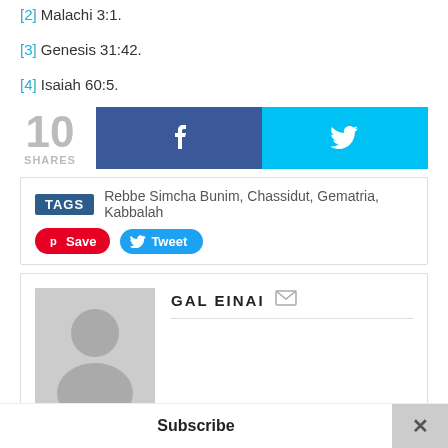[2] Malachi 3:1.
[3] Genesis 31:42.
[4] Isaiah 60:5.
[Figure (infographic): Social share count showing 10 SHARES, with Facebook and Twitter share buttons]
TAGS  Rebbe Simcha Bunim, Chassidut, Gematria, Kabbalah
GAL EINAI  [email icon]
Subscribe